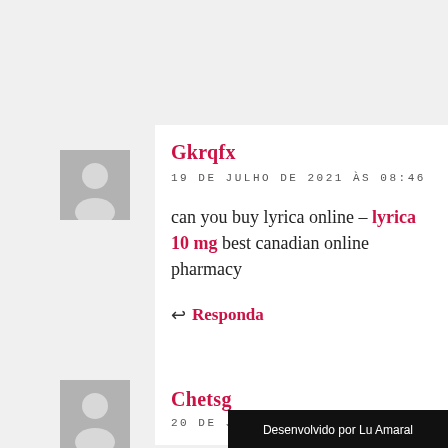Gkrqfx
19 DE JULHO DE 2021 ÀS 08:46
can you buy lyrica online – lyrica 10 mg best canadian online pharmacy
Responda
Chetsg
20 DE JULHO DE 2021 ÀS 09:05
Desenvolvido por Lu Amaral